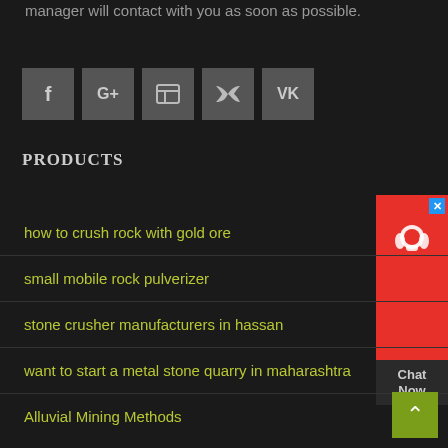manager will contact with you as soon as possible.
[Figure (other): Social media icon buttons: Facebook, Google+, LinkedIn, Twitter, VK]
PRODUCTS
[Figure (other): Chat Now widget with red background and headset icon]
how to crush rock with gold ore
small mobile rock pulverizer
stone crusher manufacturers in hassan
want to start a metal stone quarry in maharashtra
Alluvial Mining Methods